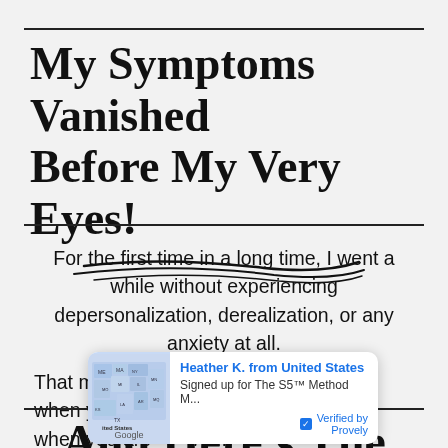My Symptoms Vanished Before My Very Eyes!
For the first time in a long time, I went a while without experiencing depersonalization, derealization, or any anxiety at all.
That may not seem like a big deal, but when you are [partially obscured] 4/7...
[Figure (infographic): Provely notification popup showing Heather K. from United States signed up for The S5™ Method M... Verified by Provely, with a Google Maps thumbnail.]
And Here's The Exciting